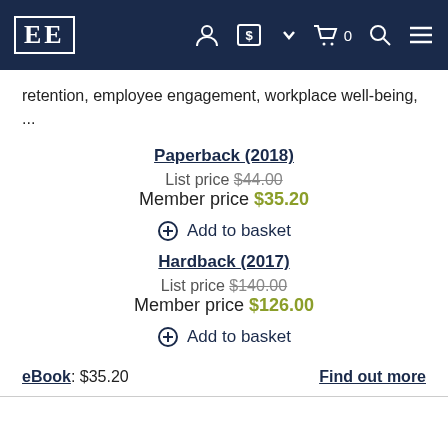EE [logo/navigation bar]
retention, employee engagement, workplace well-being, ...
Paperback (2018)
List price $44.00
Member price $35.20
⊕ Add to basket
Hardback (2017)
List price $140.00
Member price $126.00
⊕ Add to basket
eBook: $35.20
Find out more